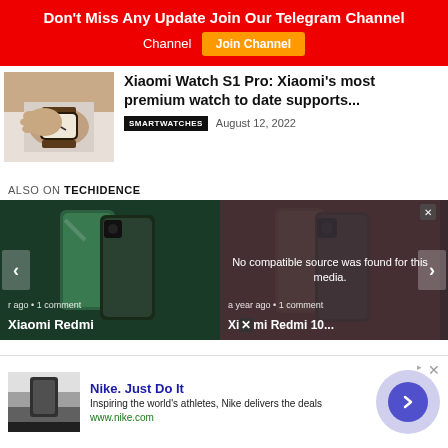Don't Miss Any Update Join Our Telegram Channel | Join Channel
Xiaomi Watch S1 Pro: Xiaomi's most premium watch to date supports...
SMARTWATCHES  August 12, 2022
ALSO ON TECHIDENCE
[Figure (screenshot): Carousel showing Xiaomi Redmi phone articles with a media error overlay on the second card]
[Figure (screenshot): Nike advertisement banner with logo, tagline 'Inspiring the world's athletes, Nike delivers the deals', www.nike.com, and arrow button]